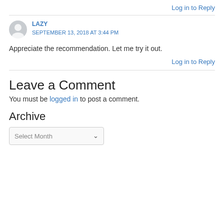Log in to Reply
LAZY
SEPTEMBER 13, 2018 AT 3:44 PM
Appreciate the recommendation. Let me try it out.
Log in to Reply
Leave a Comment
You must be logged in to post a comment.
Archive
Select Month